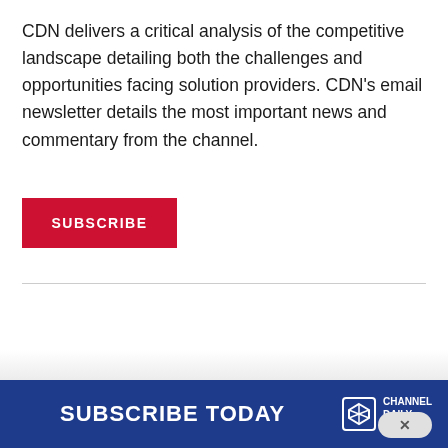CDN delivers a critical analysis of the competitive landscape detailing both the challenges and opportunities facing solution providers. CDN's email newsletter details the most important news and commentary from the channel.
[Figure (other): Red SUBSCRIBE button]
SUBSCRIBE TODAY  CHANNEL DAILY N...